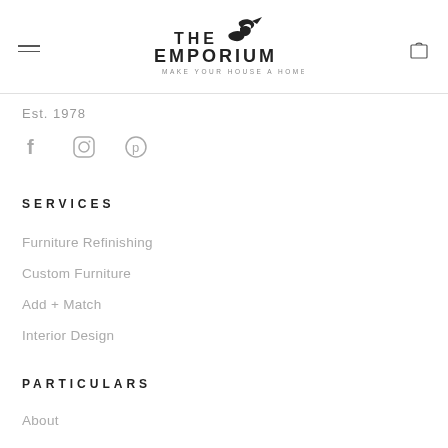THE EMPORIUM — MAKE YOUR HOUSE A HOME
Est. 1978
[Figure (illustration): Social media icons: Facebook (f), Instagram (circle camera), Pinterest (P circle)]
SERVICES
Furniture Refinishing
Custom Furniture
Add + Match
Interior Design
PARTICULARS
About